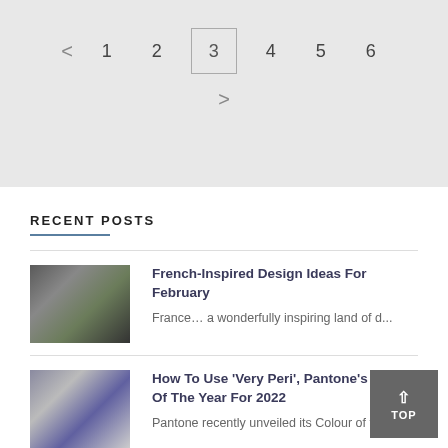< 1 2 3 4 5 6 >  (pagination, page 3 active)
RECENT POSTS
French-Inspired Design Ideas For February
France... a wonderfully inspiring land of d...
How To Use 'Very Peri', Pantone's Color Of The Year For 2022
Pantone recently unveiled its Colour of th...